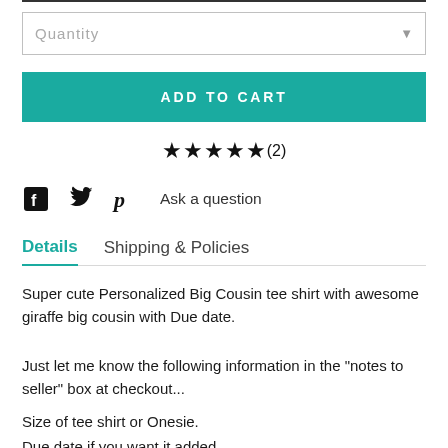Quantity
ADD TO CART
★★★★★(2)
Facebook  Twitter  Pinterest  Ask a question
Details  Shipping & Policies
Super cute Personalized Big Cousin tee shirt with awesome giraffe big cousin with Due date.
Just let me know the following information in the "notes to seller" box at checkout...
Size of tee shirt or Onesie.
Due date if you want it added.